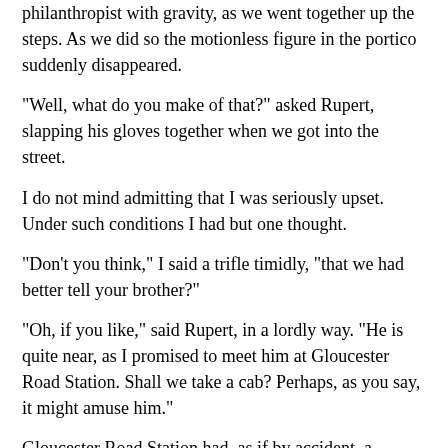philanthropist with gravity, as we went together up the steps. As we did so the motionless figure in the portico suddenly disappeared.
"Well, what do you make of that?" asked Rupert, slapping his gloves together when we got into the street.
I do not mind admitting that I was seriously upset. Under such conditions I had but one thought.
"Don't you think," I said a trifle timidly, "that we had better tell your brother?"
"Oh, if you like," said Rupert, in a lordly way. "He is quite near, as I promised to meet him at Gloucester Road Station. Shall we take a cab? Perhaps, as you say, it might amuse him."
Gloucester Road Station had, as if by accident, a somewhat deserted look. After a little looking about we discovered Basil Grant with his great head and his great white hat blocking the ticket-office window. I thought at first that he was taking a ticket for somewhere and being an astonishingly long time about it. As a matter of fact, he was discussing religion with the booking-office clerk, and had almost got his head through the hole in his excitement. When we dragged him away it was some time before he would talk of anything but the growth of an Oriental